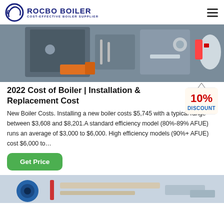ROCBO BOILER — COST-EFFECTIVE BOILER SUPPLIER
[Figure (photo): Industrial boiler equipment photo, top crop]
2022 Cost of Boiler | Installation & Replacement Cost
[Figure (illustration): 10% DISCOUNT badge/tag illustration]
New Boiler Costs. Installing a new boiler costs $5,745 with a typical range between $3,608 and $8,201.A standard efficiency model (80%-89% AFUE) runs an average of $3,000 to $6,000. High efficiency models (90%+ AFUE) cost $6,000 to…
[Figure (photo): Industrial boiler/pipe installation photo, bottom crop]